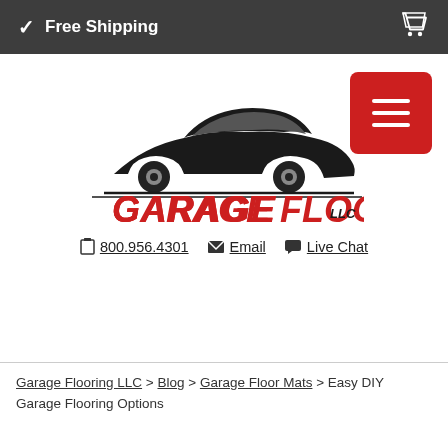✓ Free Shipping
[Figure (logo): Garage Flooring LLC logo with red bold italic text and a stylized sports car silhouette above]
📱 800.956.4301   ✉ Email   💬 Live Chat
Garage Flooring LLC > Blog > Garage Floor Mats > Easy DIY Garage Flooring Options